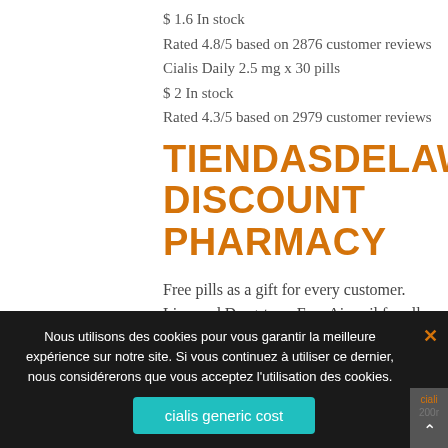$ 1.6 In stock
Rated 4.8/5 based on 2876 customer reviews
Cialis Daily 2.5 mg x 30 pills
$ 2 In stock
Rated 4.3/5 based on 2979 customer reviews
TIENDASDELAWEB DISCOUNT PHARMACY
Free pills as a gift for every customer. Licensed Drugstore. Free Airmail for all orders with sum $200. 10% discount for all reorders.
Phone: 652-531-272
Nous utilisons des cookies pour vous garantir la meilleure expérience sur notre site. Si vous continuez à utiliser ce dernier, nous considérerons que vous acceptez l'utilisation des cookies.
cialis generic cost